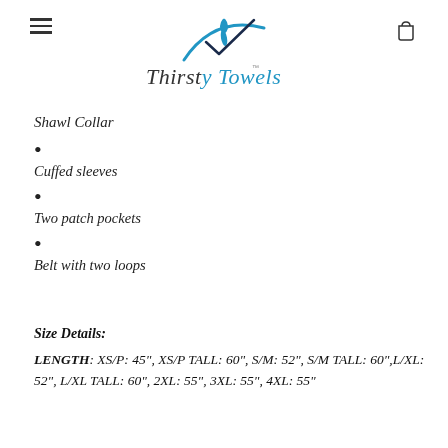[Figure (logo): ThirstyTowels logo with stylized water droplet and checkmark above the brand name in blue and gray script font]
Shawl Collar
Cuffed sleeves
Two patch pockets
Belt with two loops
Size Details:
LENGTH: XS/P: 45", XS/P TALL: 60", S/M: 52", S/M TALL: 60",L/XL: 52", L/XL TALL: 60", 2XL: 55", 3XL: 55", 4XL: 55"